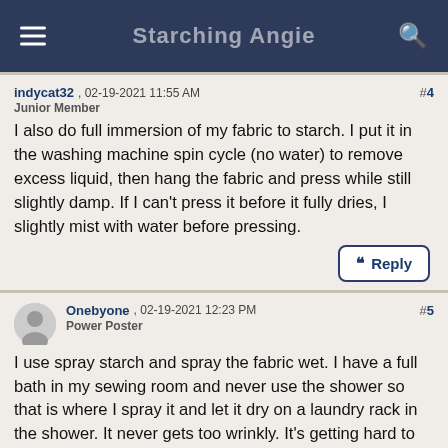Starching Angie
indycat32 , 02-19-2021 11:55 AM
Junior Member
#4
I also do full immersion of my fabric to starch. I put it in the washing machine spin cycle (no water) to remove excess liquid, then hang the fabric and press while still slightly damp. If I can't press it before it fully dries, I slightly mist with water before pressing.
Reply
Onebyone , 02-19-2021 12:23 PM
Power Poster
#5
I use spray starch and spray the fabric wet. I have a full bath in my sewing room and never use the shower so that is where I spray it and let it dry on a laundry rack in the shower. It never gets too wrinkly. It's getting hard to find real spray starch, it's all fabric spray now.